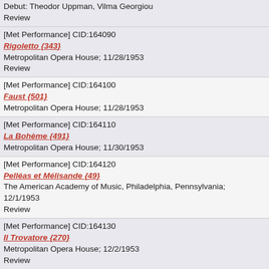Debut: Theodor Uppman, Vilma Georgiou
Review
[Met Performance] CID:164090
Rigoletto {343}
Metropolitan Opera House; 11/28/1953
Review
[Met Performance] CID:164100
Faust {501}
Metropolitan Opera House; 11/28/1953
[Met Performance] CID:164110
La Bohème {491}
Metropolitan Opera House; 11/30/1953
[Met Performance] CID:164120
Pelléas et Mélisande {49}
The American Academy of Music, Philadelphia, Pennsylvania; 12/1/1953
Review
[Met Performance] CID:164130
Il Trovatore {270}
Metropolitan Opera House; 12/2/1953
Review
[Met Performance] CID:164140
Le Nozze di Figaro {132}
Metropolitan Opera House; 12/3/1953
[Met Performance] CID:164150
La Forza del Destino {73}
Metropolitan Opera House; 12/4/1953
[Met Performance] CID:164160